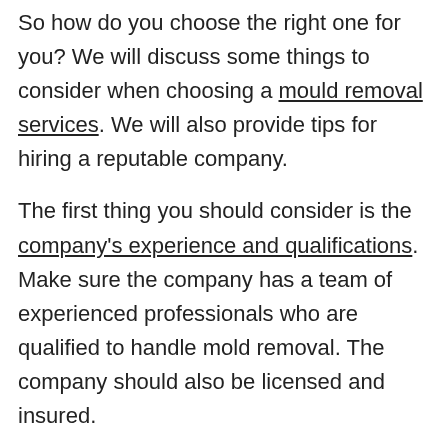So how do you choose the right one for you? We will discuss some things to consider when choosing a mould removal services. We will also provide tips for hiring a reputable company.
The first thing you should consider is the company's experience and qualifications. Make sure the company has a team of experienced professionals who are qualified to handle mold removal. The company should also be licensed and insured.
Another thing to consider is the